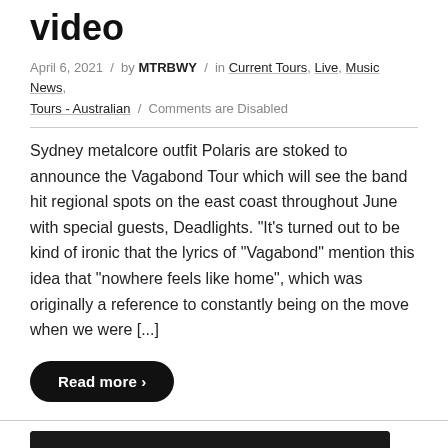video
April 6, 2021 / by MTRBWY / in Current Tours, Live, Music News, Tours - Australian / Comments are Disabled
Sydney metalcore outfit Polaris are stoked to announce the Vagabond Tour which will see the band hit regional spots on the east coast throughout June with special guests, Deadlights. "It's turned out to be kind of ironic that the lyrics of "Vagabond" mention this idea that "nowhere feels like home", which was originally a reference to constantly being on the move when we were [...]
Read more ›
[Figure (photo): Black and white photo of performers on stage, partially visible at bottom of page]